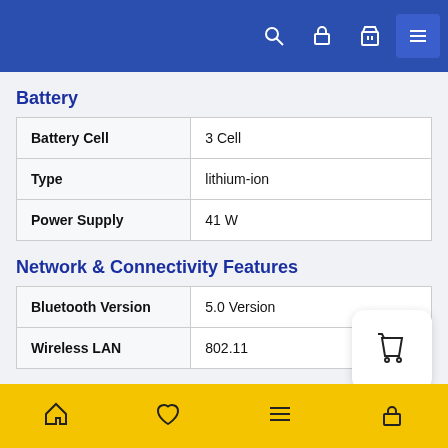Navigation bar with search, lock, bag, and menu icons
Battery
| Battery Cell | 3 Cell |
| Type | lithium-ion |
| Power Supply | 41 W |
Network & Connectivity Features
| Bluetooth Version | 5.0 Version |
| Wireless LAN | 802.11 |
Additional Features
| Web Camera | HD |
Home, Favorites, Menu, Account icons